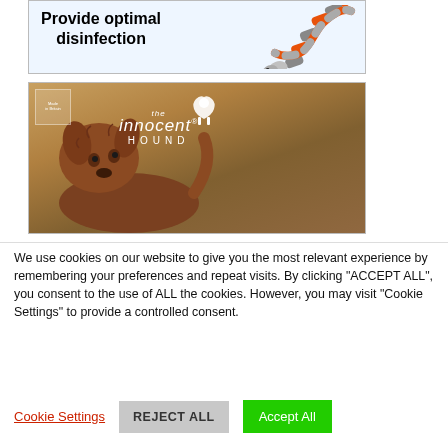[Figure (illustration): Advertisement banner showing bold text 'Provide optimal disinfection' with an orange and gray banded snake illustration on the right side, on a light blue background with a border.]
[Figure (photo): Advertisement image for 'the innocent HOUND' dog food brand. Shows a brown fluffy dog outdoors against a warm golden/blurred background. The brand logo with a white silhouette dog and italic text 'the innocent HOUND' is overlaid at top center. A small badge/seal is in the top left corner.]
We use cookies on our website to give you the most relevant experience by remembering your preferences and repeat visits. By clicking "ACCEPT ALL", you consent to the use of ALL the cookies. However, you may visit "Cookie Settings" to provide a controlled consent.
Cookie Settings
REJECT ALL
Accept All